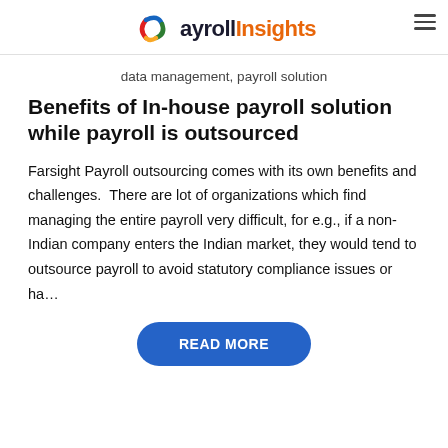Payroll Insights
data management, payroll solution
Benefits of In-house payroll solution while payroll is outsourced
Farsight Payroll outsourcing comes with its own benefits and challenges.  There are lot of organizations which find managing the entire payroll very difficult, for e.g., if a non-Indian company enters the Indian market, they would tend to outsource payroll to avoid statutory compliance issues or ha…
READ MORE